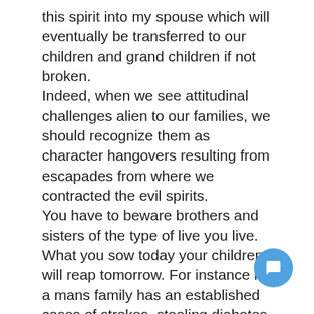this spirit into my spouse which will eventually be transferred to our children and grand children if not broken. Indeed, when we see attitudinal challenges alien to our families, we should recognize them as character hangovers resulting from escapades from where we contracted the evil spirits. You have to beware brothers and sisters of the type of live you live. What you sow today your children will reap tomorrow. For instance if a mans family has an established cases of strokes, stealing diabetes etc and he marries a woman from a family where this affliction or disease has never been experienced. There is the tendency that one of their children if not more may suffer the same disease.
If you find this educative,kindly share and drop your comment
You can reach me to buy your complete copy of this